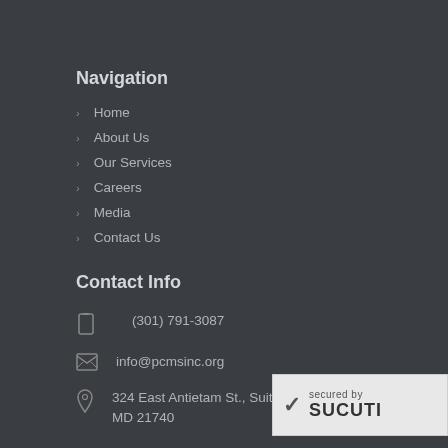Navigation
Home
About Us
Our Services
Careers
Media
Contact Us
Contact Info
(301) 791-3087
info@pcmsinc.org
324 East Antietam St., Suite 301, Hagerstown, MD 21740
[Figure (logo): Sucuri security badge with checkmark, 'secured by' text and 'SUCURI' logo]